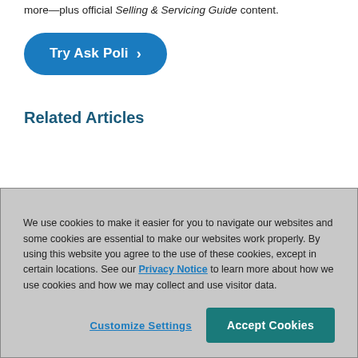more—plus official Selling & Servicing Guide content.
[Figure (other): Blue rounded button labeled 'Try Ask Poli >']
Related Articles
We use cookies to make it easier for you to navigate our websites and some cookies are essential to make our websites work properly. By using this website you agree to the use of these cookies, except in certain locations. See our Privacy Notice to learn more about how we use cookies and how we may collect and use visitor data.
Customize Settings | Accept Cookies